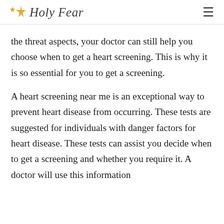✦ Holy Fear
the threat aspects, your doctor can still help you choose when to get a heart screening. This is why it is so essential for you to get a screening.
A heart screening near me is an exceptional way to prevent heart disease from occurring. These tests are suggested for individuals with danger factors for heart disease. These tests can assist you decide when to get a screening and whether you require it. A doctor will use this information to determine if you need to get a screening.